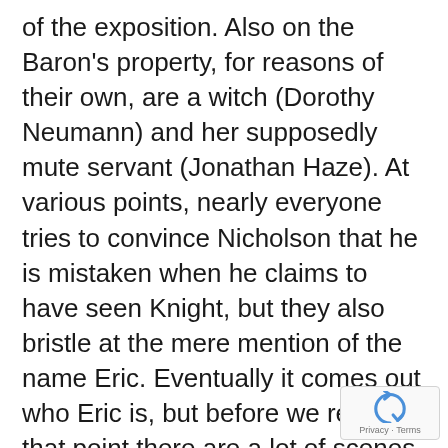of the exposition. Also on the Baron's property, for reasons of their own, are a witch (Dorothy Neumann) and her supposedly mute servant (Jonathan Haze). At various points, nearly everyone tries to convince Nicholson that he is mistaken when he claims to have seen Knight, but they also bristle at the mere mention of the name Eric. Eventually it comes out who Eric is, but before we reach that point there are a lot of scenes of Nicholson wandering around the castle, occasionally bumping into Karloff or Miller and demanding that they explain what's going on. As the audience's surrogate, he's only doing his job, but there are times when his behavior borders on Ugly Americanism – and he's supposed to be French!